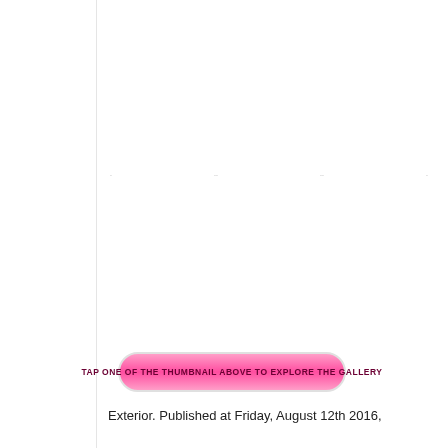[Figure (other): Blank white gallery area with faint thumbnail placeholder dots/marks near the top]
TAP ONE OF THE THUMBNAIL ABOVE TO EXPLORE THE GALLERY
Exterior. Published at Friday, August 12th 2016,